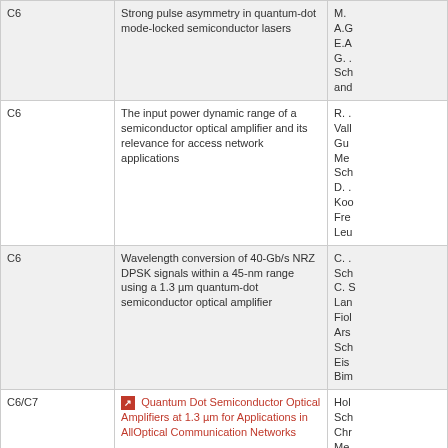| Code | Title | Authors |
| --- | --- | --- |
| C6 | Strong pulse asymmetry in quantum-dot mode-locked semiconductor lasers | M. ...
A.G...
E.A...
G. ...
Sch...
and... |
| C6 | The input power dynamic range of a semiconductor optical amplifier and its relevance for access network applications | R. ...
Vall...
Gu...
Me...
Sch...
D. ...
Koo...
Fre...
Leu... |
| C6 | Wavelength conversion of 40-Gb/s NRZ DPSK signals within a 45-nm range using a 1.3 µm quantum-dot semiconductor optical amplifier | C. ...
Sch...
C. S...
Lan...
Fiol...
Ars...
Sch...
Eis...
Bim... |
| C6/C7 | ↗ Quantum Dot Semiconductor Optical Amplifiers at 1.3 µm for Applications in AllOptical Communication Networks | Hol...
Sch...
Chr...
Me...
Bim...
Car...
Sch...
Lan...
And...
Gal...
Col... |
| C6/C7 | ↗ 40 Gb/s wavelength conversion via four-wave mixing in a quantum-dot semiconductor... | Chr...
Me...
Sch...
Lan...
Hol... |